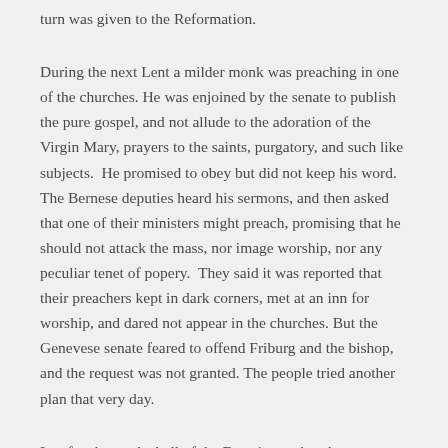turn was given to the Reformation.
During the next Lent a milder monk was preaching in one of the churches. He was enjoined by the senate to publish the pure gospel, and not allude to the adoration of the Virgin Mary, prayers to the saints, purgatory, and such like subjects.  He promised to obey but did not keep his word. The Bernese deputies heard his sermons, and then asked that one of their ministers might preach, promising that he should not attack the mass, nor image worship, nor any peculiar tenet of popery.  They said it was reported that their preachers kept in dark corners, met at an inn for worship, and dared not appear in the churches. But the Genevese senate feared to offend Friburg and the bishop, and the request was not granted. The people tried another plan that very day.
In a few hours the bell of the Franciscan church was ringing, and the people flocking thither almost carrying Farel.  They set him up in the pulpit, and he preached without interruption.  It was the first Protestant sermon in a Genevese church. F...